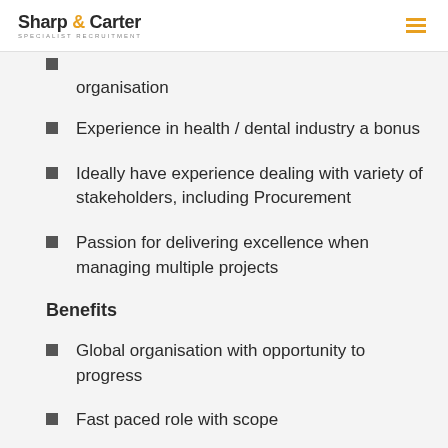Sharp & Carter SPECIALIST RECRUITMENT
organisation
Experience in health / dental industry a bonus
Ideally have experience dealing with variety of stakeholders, including Procurement
Passion for delivering excellence when managing multiple projects
Benefits
Global organisation with opportunity to progress
Fast paced role with scope